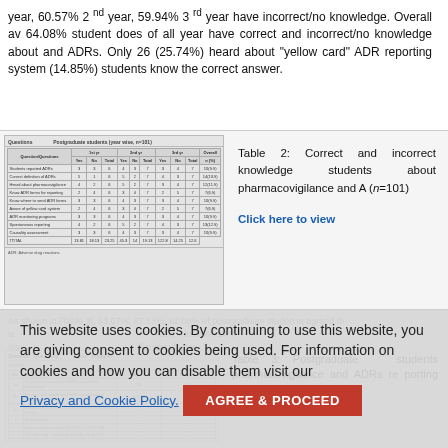year, 60.57% 2nd year, 59.94% 3rd year have incorrect/no knowledge. Overall av 64.08% student does of all year have correct and incorrect/no knowledge about and ADRs. Only 26 (25.74%) heard about "yellow card" ADR reporting system (14.85%) students know the correct answer.
[Figure (table-as-image): Thumbnail of Table 2 showing correct and incorrect knowledge of postgraduate students about pharmacovigilance and ADRs (n=101)]
Table 2: Correct and incorrect knowledge students about pharmacovigilance and A (n=101)
Click here to view
As shown in [Table 3], 93.07%; 87.13%, 92.08% of postgraduate students agreed th is this website, you are giving consent to cookies. About 86.14% stu being used. For information on cookies and how llenging factor pharmacovigilance program in India.
[Figure (table-as-image): Thumbnail of Table 3 showing postgraduate students pharmacovigilance and ADRs reporting (n=...)]
Table 3: Postgraduate students pharmacovigilance and ADRs reporting (n=...) Click here to view